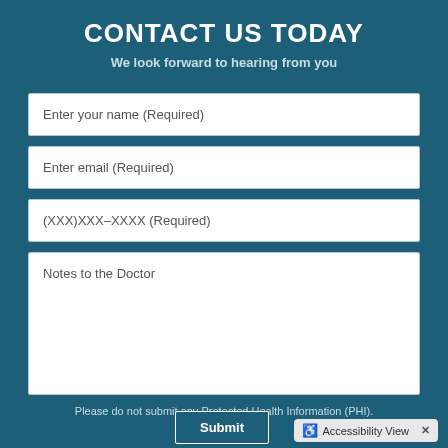CONTACT US TODAY
We look forward to hearing from you
Enter your name (Required)
Enter email (Required)
(XXX)XXX-XXXX (Required)
Notes to the Doctor
Please do not submit any Protected Health Information (PHI).
Submit
Accessibility View